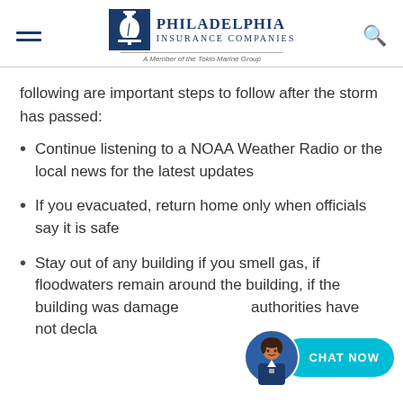[Figure (logo): Philadelphia Insurance Companies logo with Liberty Bell icon and 'A Member of the Tokio Marine Group' tagline]
following are important steps to follow after the storm has passed:
Continue listening to a NOAA Weather Radio or the local news for the latest updates
If you evacuated, return home only when officials say it is safe
Stay out of any building if you smell gas, if floodwaters remain around the building, if the building was damaged, or if the authorities have not declared it safe
[Figure (illustration): Chat Now button with female avatar in blue uniform, cyan rounded button labeled CHAT NOW]